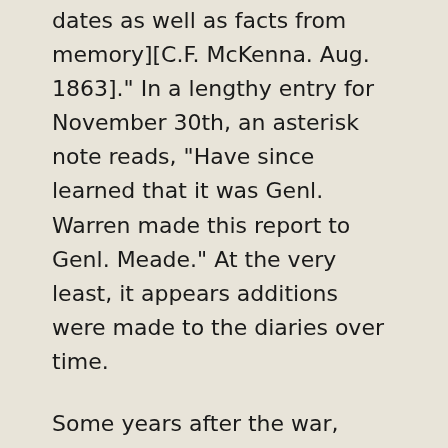dates as well as facts from memory][C.F. McKenna. Aug. 1863]." In a lengthy entry for November 30th, an asterisk note reads, “Have since learned that it was Genl. Warren made this report to Genl. Meade.” At the very least, it appears additions were made to the diaries over time.
Some years after the war, McKenna would write the definitive history of his regiment, two copies of which we have in our book collection(and also available online). It’s clear that the war, for many reasons, had a powerful effect on him. In turn, that had an effect on me, standing on the Gettysburg